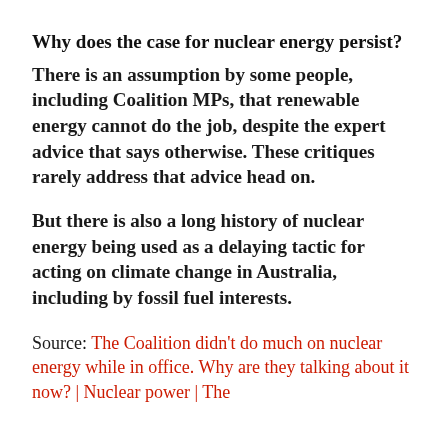Why does the case for nuclear energy persist?
There is an assumption by some people, including Coalition MPs, that renewable energy cannot do the job, despite the expert advice that says otherwise. These critiques rarely address that advice head on.
But there is also a long history of nuclear energy being used as a delaying tactic for acting on climate change in Australia, including by fossil fuel interests.
Source: The Coalition didn't do much on nuclear energy while in office. Why are they talking about it now? | Nuclear power | The